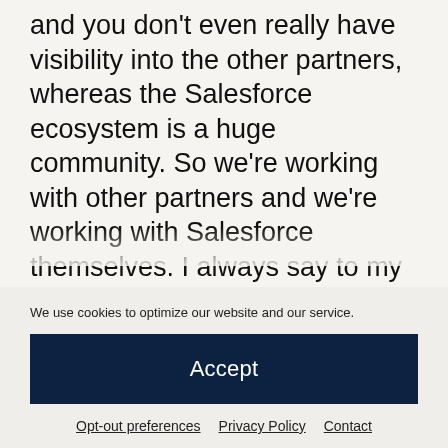and you don't even really have visibility into the other partners, whereas the Salesforce ecosystem is a huge community. So we're working with other partners and we're working with Salesforce themselves. I always say to my team, you're selling to our customers and I'm selling into Salesforce because it's relevant and being in their radar and and working with them closely, which we do. And I knew I knew that, too. So we have some advantages, both with the technology and understanding Salesforce and the ecosystem. But I'll tell you, it's even tough for us because if if you
We use cookies to optimize our website and our service.
Accept
Opt-out preferences  Privacy Policy  Contact